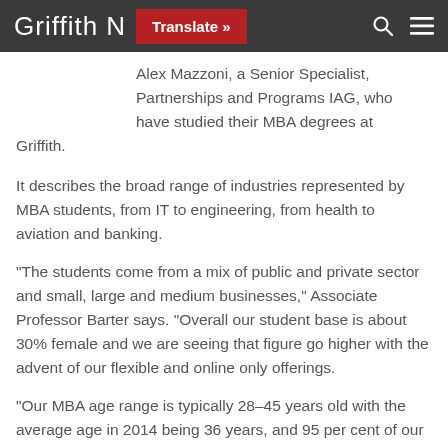Griffith N  Translate »
Alex Mazzoni, a Senior Specialist, Partnerships and Programs IAG, who have studied their MBA degrees at Griffith.
It describes the broad range of industries represented by MBA students, from IT to engineering, from health to aviation and banking.
“The students come from a mix of public and private sector and small, large and medium businesses,” Associate Professor Barter says. “Overall our student base is about 30% female and we are seeing that figure go higher with the advent of our flexible and online only offerings.
“Our MBA age range is typically 28–45 years old with the average age in 2014 being 36 years, and 95 per cent of our students are in full time work.”